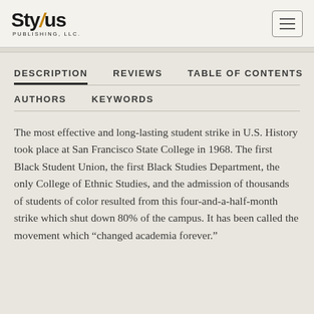Stylus Publishing, LLC.
DESCRIPTION | REVIEWS | TABLE OF CONTENTS | AUTHORS | KEYWORDS
The most effective and long-lasting student strike in U.S. History took place at San Francisco State College in 1968. The first Black Student Union, the first Black Studies Department, the only College of Ethnic Studies, and the admission of thousands of students of color resulted from this four-and-a-half-month strike which shut down 80% of the campus. It has been called the movement which “changed academia forever.”